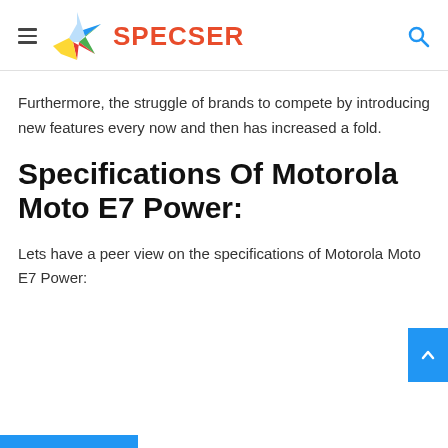SPECSER
Furthermore, the struggle of brands to compete by introducing new features every now and then has increased a fold.
Specifications Of Motorola Moto E7 Power:
Lets have a peer view on the specifications of Motorola Moto E7 Power: